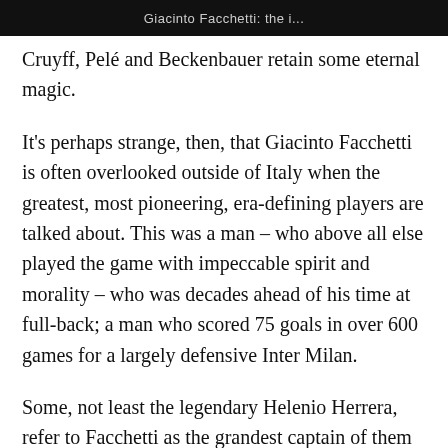Giacinto Facchetti: the i...
Cruyff, Pelé and Beckenbauer retain some eternal magic.
It's perhaps strange, then, that Giacinto Facchetti is often overlooked outside of Italy when the greatest, most pioneering, era-defining players are talked about. This was a man – who above all else played the game with impeccable spirit and morality – who was decades ahead of his time at full-back; a man who scored 75 goals in over 600 games for a largely defensive Inter Milan.
Some, not least the legendary Helenio Herrera, refer to Facchetti as the grandest captain of them all. And